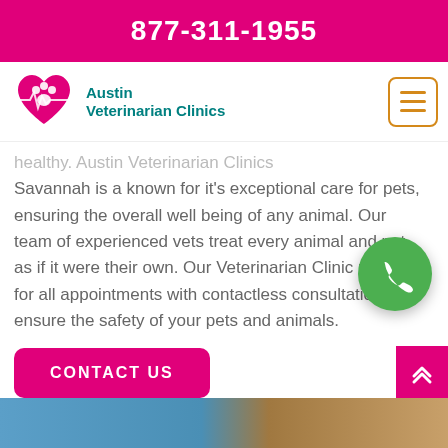877-311-1955
[Figure (logo): Austin Veterinarian Clinics logo with heart/paw icon in pink and teal]
healthy. Austin Veterinarian Clinics Savannah is a known for it's exceptional care for pets, ensuring the overall well being of any animal. Our team of experienced vets treat every animal and pet as if it were their own. Our Veterinarian Clinic remains for all appointments with contactless consultations to ensure the safety of your pets and animals.
[Figure (illustration): Green circular phone/call button floating on the right side of the text]
CONTACT US